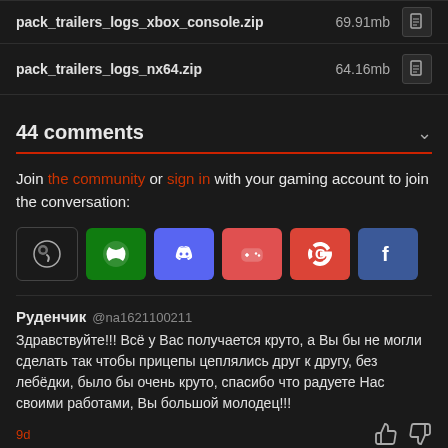pack_trailers_logs_xbox_console.zip   69.91mb
pack_trailers_logs_nx64.zip   64.16mb
44 comments
Join the community or sign in with your gaming account to join the conversation:
[Figure (other): Social login buttons: Steam, Xbox, Discord, Gamepad/itch, Google, Facebook]
Руденчик @na1621100211
Здравствуйте!!! Всё у Вас получается круто, а Вы бы не могли сделать так чтобы прицепы цеплялись друг к другу, без лебёдки, было бы очень круто, спасибо что радуете Нас своими работами, Вы большой молодец!!!
9d
Rokman-84 @rokman-84
Попробовал я этот мод и просто потерял время Грузовики еле